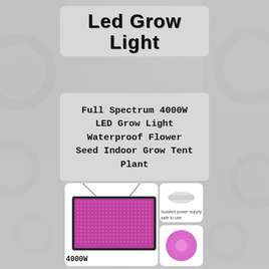Led Grow Light
Full Spectrum 4000W LED Grow Light Waterproof Flower Seed Indoor Grow Tent Plant
[Figure (photo): LED grow light panel product image showing a flat rectangular LED panel with pink/purple LEDs, suspended by wires; alongside small accessory images including an isolated power supply and a close-up of LEDs. Label '4000W' appears below the main panel.]